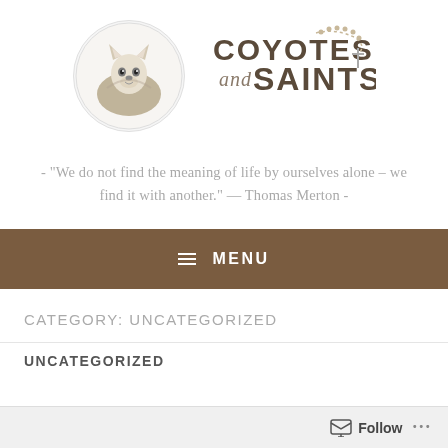[Figure (logo): Circular logo with illustrated coyote/wolf in hooded cloak, beside stylized text 'COYOTES and SAINTS' with rosary beads decoration]
- "We do not find the meaning of life by ourselves alone – we find it with another." — Thomas Merton -
≡ MENU
CATEGORY: UNCATEGORIZED
UNCATEGORIZED
Follow ...